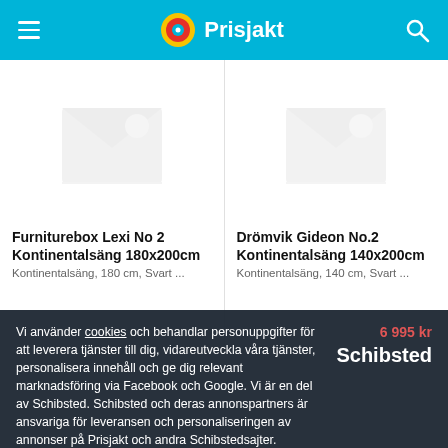Prisjakt
[Figure (screenshot): Furniturebox Lexi No 2 Kontinentalsäng 180x200cm product placeholder image]
Furniturebox Lexi No 2 Kontinentalsäng 180x200cm
Kontinentalsäng, 180 cm, Svart ...
[Figure (screenshot): Drömvik Gideon No.2 Kontinentalsäng 140x200cm product placeholder image]
Drömvik Gideon No.2 Kontinentalsäng 140x200cm
Kontinentalsäng, 140 cm, Svart ...
Vi använder cookies och behandlar personuppgifter för att leverera tjänster till dig, vidareutveckla våra tjänster, personalisera innehåll och ge dig relevant marknadsföring via Facebook och Google. Vi är en del av Schibsted. Schibsted och deras annonspartners är ansvariga för leveransen och personaliseringen av annonser på Prisjakt och andra Schibstedsajter.
6 995 kr
Schibsted
Acceptera
Mina val